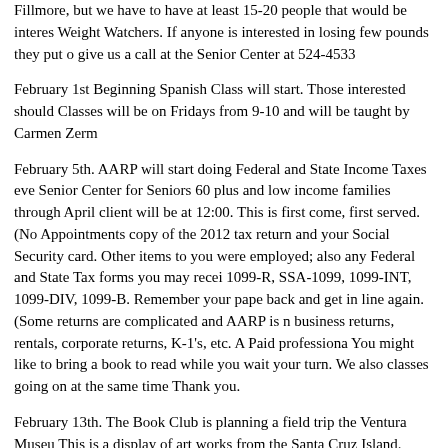Fillmore, but we have to have at least 15-20 people that would be interested in Weight Watchers. If anyone is interested in losing few pounds they put on give us a call at the Senior Center at 524-4533
February 1st Beginning Spanish Class will start. Those interested should Classes will be on Fridays from 9-10 and will be taught by Carmen Zerm
February 5th. AARP will start doing Federal and State Income Taxes eve Senior Center for Seniors 60 plus and low income families through April client will be at 12:00. This is first come, first served. (No Appointments copy of the 2012 tax return and your Social Security card. Other items to you were employed; also any Federal and State Tax forms you may recei 1099-R, SSA-1099, 1099-INT, 1099-DIV, 1099-B. Remember your pape back and get in line again. (Some returns are complicated and AARP is n business returns, rentals, corporate returns, K-1's, etc. A Paid professiona You might like to bring a book to read while you wait your turn. We also classes going on at the same time Thank you.
February 13th. The Book Club is planning a field trip the Ventura Museu This is a display of art works from the Santa Cruz Island. They will meet 10:00 AM to Car Pool. The entry price is $3.00 for more information ple